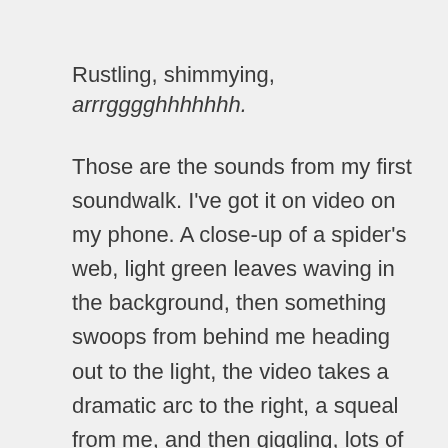Rustling, shimmying, arrrgggghhhhhhh.
Those are the sounds from my first soundwalk. I've got it on video on my phone. A close-up of a spider's web, light green leaves waving in the background, then something swoops from behind me heading out to the light, the video takes a dramatic arc to the right, a squeal from me, and then giggling, lots of giggling. The bird, blackbird in size, but a blur on the video, flew under my arm, grazing the crook with its wings. I think we were as shocked as each other. On the positive side, I must have been doing a good job of staying still